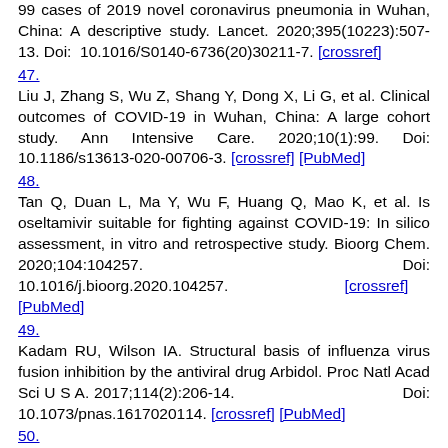99 cases of 2019 novel coronavirus pneumonia in Wuhan, China: A descriptive study. Lancet. 2020;395(10223):507-13. Doi: 10.1016/S0140-6736(20)30211-7. [crossref]
47.
Liu J, Zhang S, Wu Z, Shang Y, Dong X, Li G, et al. Clinical outcomes of COVID-19 in Wuhan, China: A large cohort study. Ann Intensive Care. 2020;10(1):99. Doi: 10.1186/s13613-020-00706-3. [crossref] [PubMed]
48.
Tan Q, Duan L, Ma Y, Wu F, Huang Q, Mao K, et al. Is oseltamivir suitable for fighting against COVID-19: In silico assessment, in vitro and retrospective study. Bioorg Chem. 2020;104:104257. Doi: 10.1016/j.bioorg.2020.104257. [crossref] [PubMed]
49.
Kadam RU, Wilson IA. Structural basis of influenza virus fusion inhibition by the antiviral drug Arbidol. Proc Natl Acad Sci U S A. 2017;114(2):206-14. Doi: 10.1073/pnas.1617020114. [crossref] [PubMed]
50.
Nejami M, Yassin Z, Keyvani H, Mokiani MJ.